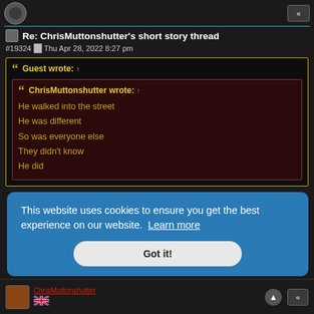Re: ChrisMuttonshutter's short story thread
#19324  Thu Apr 28, 2022 8:27 pm
Guest wrote: ↑
ChrisMuttonshutter wrote: ↑
He walked into the street
He was different
So was everyone else
They didn't know
He did
He was you.
He was a fa...
This website uses cookies to ensure you get the best experience on our website. Learn more
Got it!
ChrisMuttonshutter